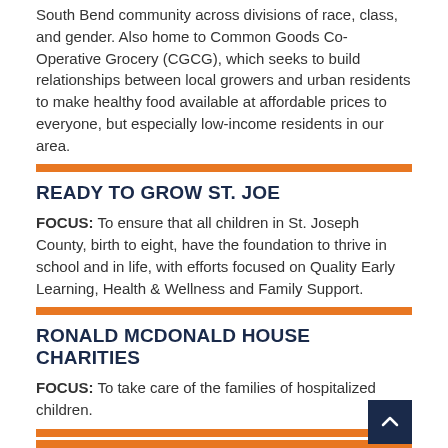South Bend community across divisions of race, class, and gender. Also home to Common Goods Co-Operative Grocery (CGCG), which seeks to build relationships between local growers and urban residents to make healthy food available at affordable prices to everyone, but especially low-income residents in our area.
READY TO GROW ST. JOE
FOCUS: To ensure that all children in St. Joseph County, birth to eight, have the foundation to thrive in school and in life, with efforts focused on Quality Early Learning, Health & Wellness and Family Support.
RONALD MCDONALD HOUSE CHARITIES
FOCUS: To take care of the families of hospitalized children.
SALVATION ARMY/THE KROC CENTER
FOCUS: To serve as an unprecedented place of gathering and enrichment which houses an array of education, sports, faith and supportive programs to deliver a world class experience.